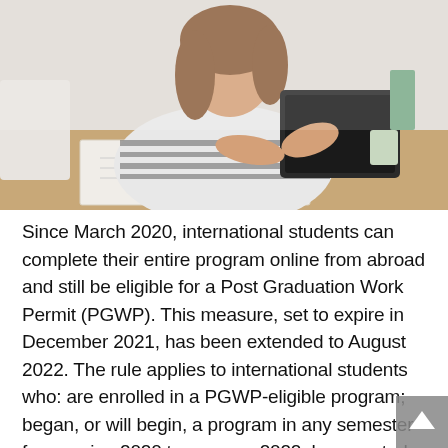[Figure (photo): A woman with long brown hair wearing a striped shirt sits at a wooden desk, holding a tablet/stylus and looking at it. An open notebook is visible on the desk. The background is a light-colored room.]
Since March 2020, international students can complete their entire program online from abroad and still be eligible for a Post Graduation Work Permit (PGWP). This measure, set to expire in December 2021, has been extended to August 2022. The rule applies to international students who: are enrolled in a PGWP-eligible program; began, or will begin, a program in any semester from spring 2020 to summer 2022; have a study permit or approval for a study permit, or applied for a study permit prior to starting their program and are eventually approved; and meet all other PGWP